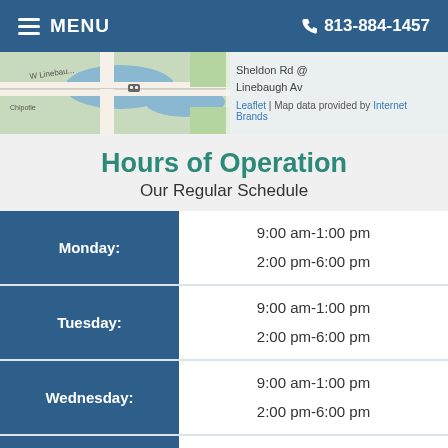MENU | 813-884-1457
[Figure (map): Street map showing Sheldon Rd @ Linebaugh Av intersection area with roads and labels. Attribution: Leaflet | Map data provided by Internet Brands]
Hours of Operation
Our Regular Schedule
| Day | Hours |
| --- | --- |
| Monday: | 9:00 am-1:00 pm
2:00 pm-6:00 pm |
| Tuesday: | 9:00 am-1:00 pm
2:00 pm-6:00 pm |
| Wednesday: | 9:00 am-1:00 pm
2:00 pm-6:00 pm |
| Thursday: | 9:00 am-1:00 pm
2:00 pm-6:00 pm |